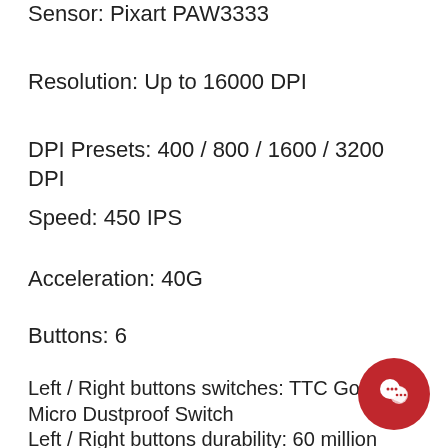Sensor: Pixart PAW3333
Resolution: Up to 16000 DPI
DPI Presets: 400 / 800 / 1600 / 3200 DPI
Speed: 450 IPS
Acceleration: 40G
Buttons: 6
Left / Right buttons switches: TTC Golden Micro Dustproof Switch
Left / Right buttons durability: 60 million clicks